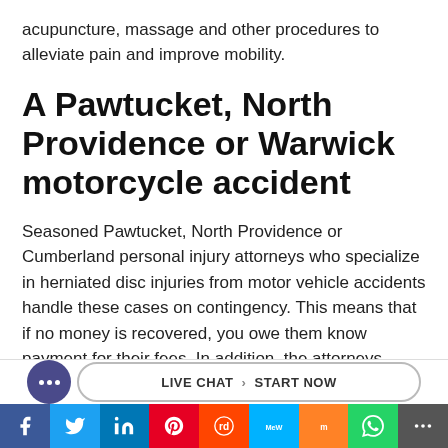acupuncture, massage and other procedures to alleviate pain and improve mobility.
A Pawtucket, North Providence or Warwick motorcycle accident
Seasoned Pawtucket, North Providence or Cumberland personal injury attorneys who specialize in herniated disc injuries from motor vehicle accidents handle these cases on contingency. This means that if no money is recovered, you owe them know payment for their fees. In addition, the attorneys typically offe…ob… to